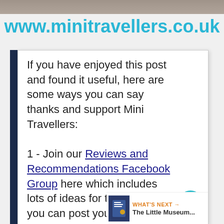[Figure (screenshot): Top banner image with brownish gradient background, cropped website screenshot header]
www.minitravellers.co.uk
If you have enjoyed this post and found it useful, here are some ways you can say thanks and support Mini Travellers:
1 - Join our Reviews and Recommendations Facebook Group here which includes lots of ideas for things to do - you can post your recommendations too.
2 - Buy our debut novel for boys and